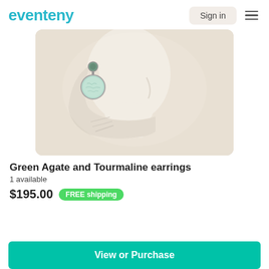eventeny
[Figure (photo): A white mannequin bust wearing green agate and tourmaline drop earrings — a small round dark green stud at top connected to a larger round pale aqua/mint gemstone below, set in silver. The mannequin is a classical-style sculpture with sculpted hair.]
Green Agate and Tourmaline earrings
1 available
$195.00  FREE shipping